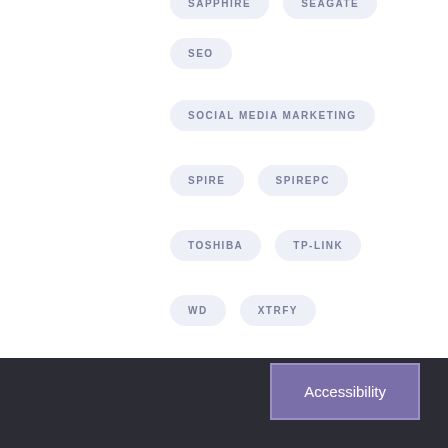SAPPHIRE
SEAGATE
SEO
SOCIAL MEDIA MARKETING
SPIRE
SPIREPC
TOSHIBA
TP-LINK
WD
XTRFY
Accessibility